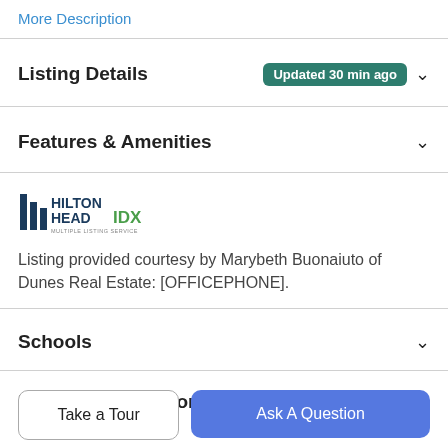More Description
Listing Details Updated 30 min ago
Features & Amenities
[Figure (logo): Hilton Head IDX Multiple Listing Service logo]
Listing provided courtesy by Marybeth Buonaiuto of Dunes Real Estate: [OFFICEPHONE].
Schools
Payment Calculator
Take a Tour
Ask A Question